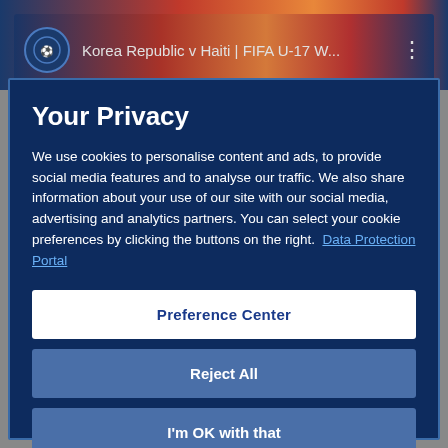[Figure (screenshot): Video thumbnail showing Korea Republic v Haiti | FIFA U-17 W... with FIFA logo icon on left and three-dot menu on right]
Your Privacy
We use cookies to personalise content and ads, to provide social media features and to analyse our traffic. We also share information about your use of our site with our social media, advertising and analytics partners. You can select your cookie preferences by clicking the buttons on the right.  Data Protection Portal
Preference Center
Reject All
I'm OK with that